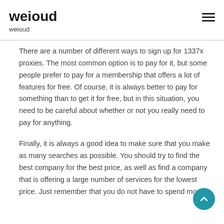weioud
weioud
There are a number of different ways to sign up for 1337x proxies. The most common option is to pay for it, but some people prefer to pay for a membership that offers a lot of features for free. Of course, it is always better to pay for something than to get it for free, but in this situation, you need to be careful about whether or not you really need to pay for anything.
Finally, it is always a good idea to make sure that you make as many searches as possible. You should try to find the best company for the best price, as well as find a company that is offering a large number of services for the lowest price. Just remember that you do not have to spend money